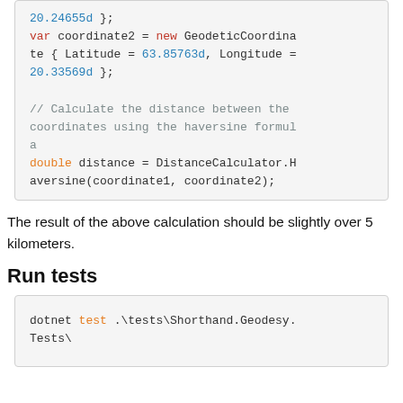[Figure (screenshot): Code block showing C# code with var coordinate2 = new GeodeticCoordinate { Latitude = 63.85763d, Longitude = 20.33569d }; and a comment and double distance = DistanceCalculator.Haversine(coordinate1, coordinate2);]
The result of the above calculation should be slightly over 5 kilometers.
Run tests
[Figure (screenshot): Code block showing: dotnet test .\tests\Shorthand.Geodesy.Tests\]